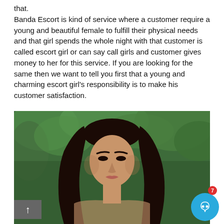that.
Banda Escort is kind of service where a customer require a young and beautiful female to fulfill their physical needs and that girl spends the whole night with that customer is called escort girl or can say call girls and customer gives money to her for this service. If you are looking for the same then we want to tell you first that a young and charming escort girl's responsibility is to make his customer satisfaction.
[Figure (photo): Portrait photo of a young woman with long dark hair against a green foliage background]